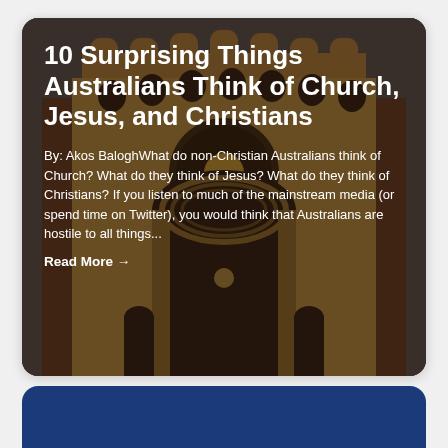[Figure (photo): Dark photograph of a brick church building facade with arched windows and decorative battlements, overlaid with dark semi-transparent overlay]
10 Surprising Things Australians Think of Church, Jesus, and Christians
By: Akos BaloghWhat do non-Christian Australians think of Church? What do they think of Jesus? What do they think of Christians? If you listen to much of the mainstream media (or spend time on Twitter), you would think that Australians are hostile to all things...
Read More →